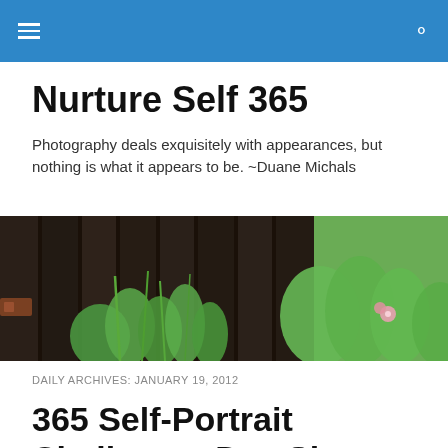Nurture Self 365 — navigation bar
Nurture Self 365
Photography deals exquisitely with appearances, but nothing is what it appears to be. ~Duane Michals
[Figure (photo): A close-up of a dark weathered wooden fence with green plants, grasses, and a small pink flower growing alongside it.]
DAILY ARCHIVES: JANUARY 19, 2012
365 Self-Portrait Challenge: Day Six